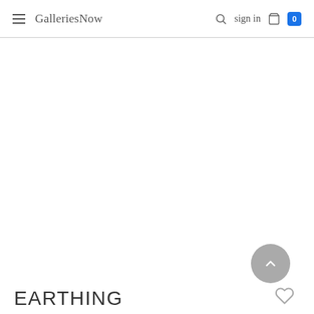GalleriesNow — sign in — 0
EARTHING